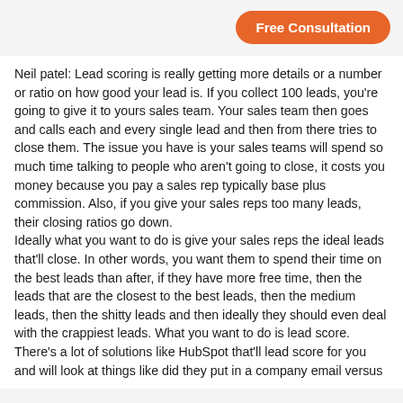Free Consultation
Neil patel: Lead scoring is really getting more details or a number or ratio on how good your lead is. If you collect 100 leads, you're going to give it to yours sales team. Your sales team then goes and calls each and every single lead and then from there tries to close them. The issue you have is your sales teams will spend so much time talking to people who aren't going to close, it costs you money because you pay a sales rep typically base plus commission. Also, if you give your sales reps too many leads, their closing ratios go down.
Ideally what you want to do is give your sales reps the ideal leads that'll close. In other words, you want them to spend their time on the best leads than after, if they have more free time, then the leads that are the closest to the best leads, then the medium leads, then the shitty leads and then ideally they should even deal with the crappiest leads. What you want to do is lead score. There's a lot of solutions like HubSpot that'll lead score for you and will look at things like did they put in a company email versus